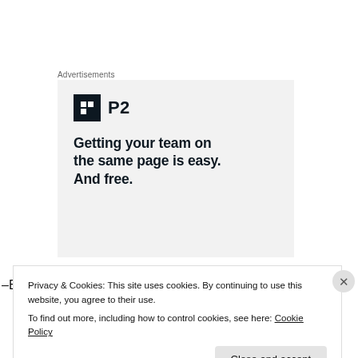Advertisements
[Figure (illustration): P2 advertisement with logo and headline: Getting your team on the same page is easy. And free.]
–Bill McCloud
Privacy & Cookies: This site uses cookies. By continuing to use this website, you agree to their use.
To find out more, including how to control cookies, see here: Cookie Policy
Close and accept